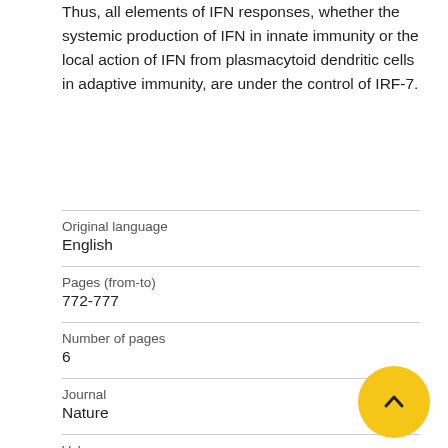Thus, all elements of IFN responses, whether the systemic production of IFN in innate immunity or the local action of IFN from plasmacytoid dendritic cells in adaptive immunity, are under the control of IRF-7.
| Original language | English |
| Pages (from-to) | 772-777 |
| Number of pages | 6 |
| Journal | Nature |
| Volume | 434 |
| Issue number | 7034 |